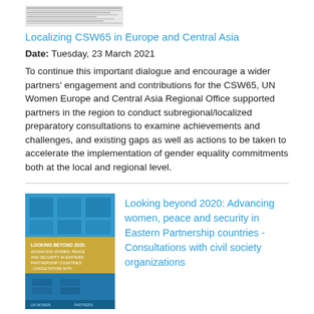[Figure (other): Small thumbnail image of a document or report cover, shown partially at the top of the page]
Localizing CSW65 in Europe and Central Asia
Date: Tuesday, 23 March 2021
To continue this important dialogue and encourage a wider partners' engagement and contributions for the CSW65, UN Women Europe and Central Asia Regional Office supported partners in the region to conduct subregional/localized preparatory consultations to examine achievements and challenges, and existing gaps as well as actions to be taken to accelerate the implementation of gender equality commitments both at the local and regional level.
[Figure (illustration): Book cover image: blue and yellow/gold cover with text 'Looking beyond 2020: Advancing women, peace and security in Eastern Partnership countries - Consultations with civil society organizations']
Looking beyond 2020: Advancing women, peace and security in Eastern Partnership countries - Consultations with civil society organizations